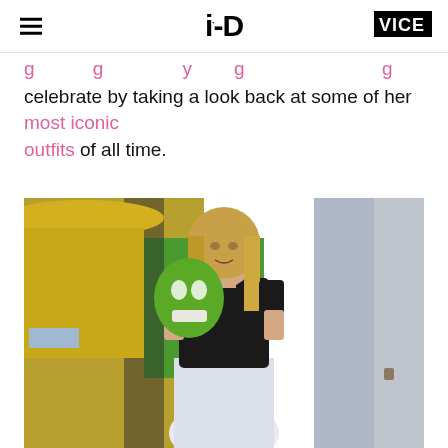i-D | VICE
g g y g g celebrate by taking a look back at some of her most iconic outfits of all time.
[Figure (photo): Young blonde woman in a black short-sleeve top and light-colored skirt, standing in front of a movie poster featuring a yellow-suited figure and a green character (The Mask movie premiere).]